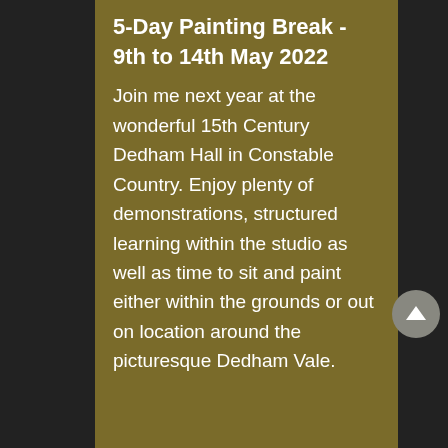5-Day Painting Break - 9th to 14th May 2022
Join me next year at the wonderful 15th Century Dedham Hall in Constable Country. Enjoy plenty of demonstrations, structured learning within the studio as well as time to sit and paint either within the grounds or out on location around the picturesque Dedham Vale.